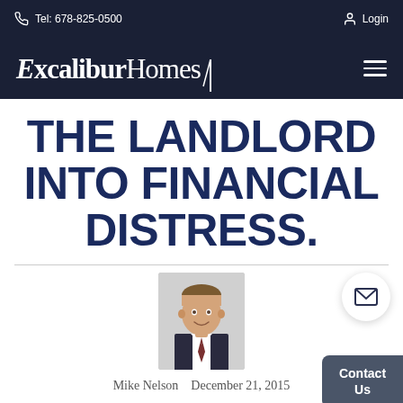Tel: 678-825-0500  Login
[Figure (logo): Excalibur Homes logo with sword graphic, white text on dark navy background, with hamburger menu icon]
THE LANDLORD INTO FINANCIAL DISTRESS.
[Figure (photo): Headshot of Mike Nelson, a man in a suit and tie, smiling]
Mike Nelson   December 21, 2015